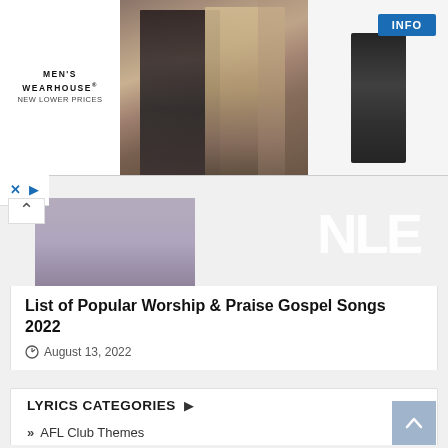[Figure (photo): Men's Wearhouse advertisement banner with couple in formal wear and solo male figure in suit, with INFO button]
[Figure (photo): Partial thumbnail image of a person, dark/purple toned with large NLE text overlay]
List of Popular Worship & Praise Gospel Songs 2022
August 13, 2022
LYRICS CATEGORIES
AFL Club Themes
Anthem
Christmas Carols
Gospel Lyrics